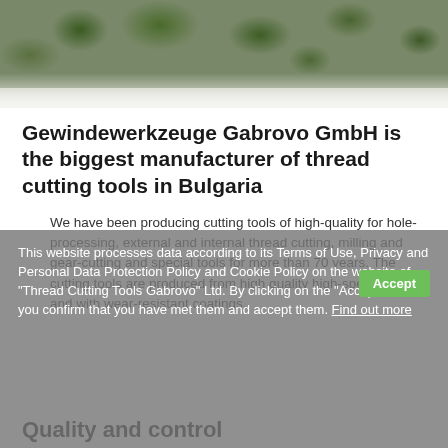[Figure (photo): Aerial view of a facility/building with trees and parked cars, fading to white at the bottom]
Gewindewerkzeuge Gabrovo GmbH is the biggest manufacturer of thread cutting tools in Bulgaria
We have been producing cutting tools of high-quality for hole-processing, external and internal thread cutting, milling and gear-cutting and special tools for more than 70 years. The cutting tools are produced from high quality high-speed steels and with wear-resistant coatings.
This website processes data according to its Terms of Use, Privacy and Personal Data Protection Policy and Cookie Policy on the website of "Thread Cutting Tools Gabrovo" Ltd. By clicking on the "Accept" button, you confirm that you have met them and accept them. Find out more
Quality and control